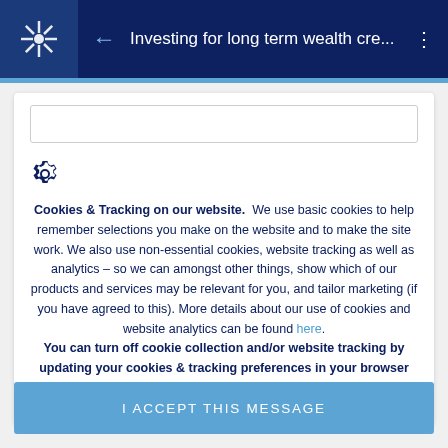Investing for long term wealth cre...
[Figure (screenshot): Cookie consent overlay on a financial website mobile app. Contains a gear/settings icon, cookie policy text, a hyperlink 'here', bold advisory text, and an 'I ACCEPT THIS MESSAGE' button.]
Cookies & Tracking on our website. We use basic cookies to help remember selections you make on the website and to make the site work. We also use non-essential cookies, website tracking as well as analytics – so we can amongst other things, show which of our products and services may be relevant for you, and tailor marketing (if you have agreed to this). More details about our use of cookies and website analytics can be found here. You can turn off cookie collection and/or website tracking by updating your cookies & tracking preferences in your browser settings.